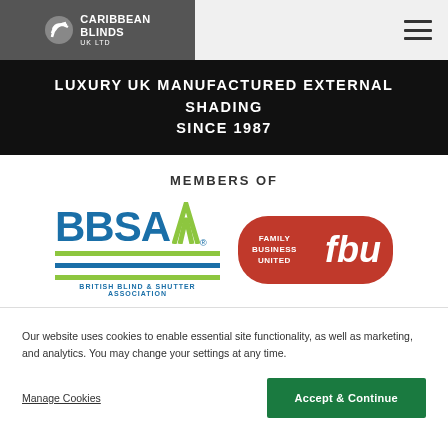Caribbean Blinds UK Ltd
LUXURY UK MANUFACTURED EXTERNAL SHADING SINCE 1987
MEMBERS OF
[Figure (logo): BBSA British Blind & Shutter Association logo]
[Figure (logo): Family Business United (fbu) logo]
Our website uses cookies to enable essential site functionality, as well as marketing, and analytics. You may change your settings at any time.
Manage Cookies
Accept & Continue